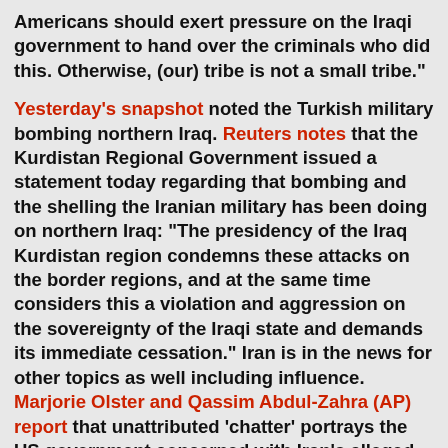Americans should exert pressure on the Iraqi government to hand over the criminals who did this. Otherwise, (our) tribe is not a small tribe."
Yesterday's snapshot noted the Turkish military bombing northern Iraq. Reuters notes that the Kurdistan Regional Government issued a statement today regarding that bombing and the shelling the Iranian military has been doing on northern Iraq: "The presidency of the Iraq Kurdistan region condemns these attacks on the border regions, and at the same time considers this a violation and aggression on the sovereignty of the Iraqi state and demands its immediate cessation." Iran is in the news for other topics as well including influence. Marjorie Olster and Qassim Abdul-Zahra (AP) report that unattributed 'chatter' portrays the US government concerned with Iran's alleged backing of Nouri al-Maliki to remain as prime minister of Iraq. Nouri al-Maliki's political slate, State Of Law, came in second in the March 7th elections winning 89 seats in the new Parliament. Ayad Allawi's slate, Iraqiya, came in first with 91 seats. Al-Ahram Weekly quotes Allawi stating, "I